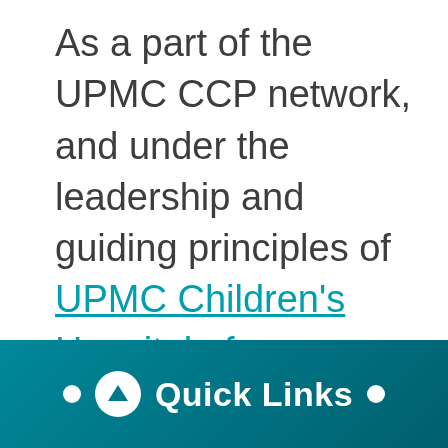As a part of the UPMC CCP network, and under the leadership and guiding principles of UPMC Children's Hospital of
● ↑ Quick Links ●